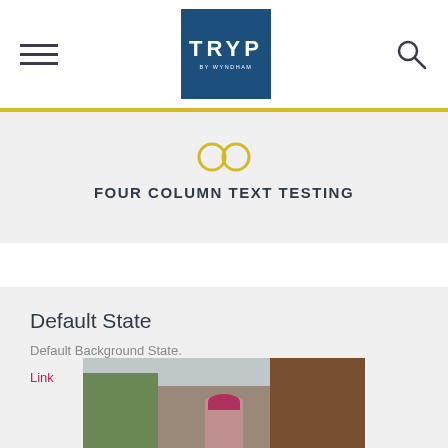TRYP by Wyndham — navigation header with hamburger menu, logo, and search icon
FOUR COLUMN TEXT TESTING
Default State
Default Background State.
Link
[Figure (photo): Photo of a person wearing a red/pink hat, standing outdoors near trees and a brick building]